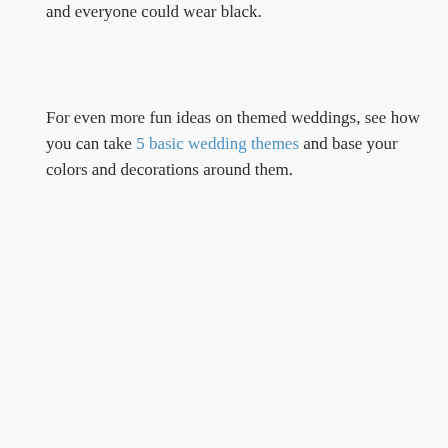and everyone could wear black.
For even more fun ideas on themed weddings, see how you can take 5 basic wedding themes and base your colors and decorations around them.